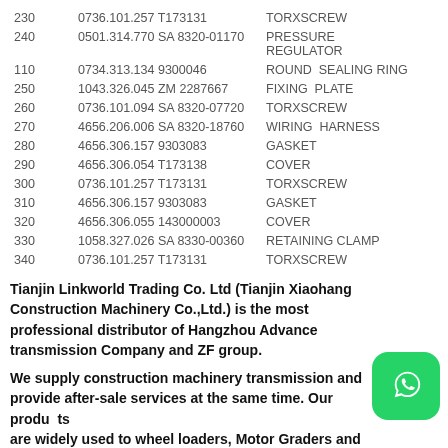| Item | Part Number | Description |
| --- | --- | --- |
| 230 | 0736.101.257 T173131 | TORXSCREW |
| 240 | 0501.314.770 SA 8320-01170 | PRESSURE REGULATOR |
| 110 | 0734.313.134 9300046 | ROUND  SEALING RING |
| 250 | 1043.326.045 ZM 2287667 | FIXING  PLATE |
| 260 | 0736.101.094 SA 8320-07720 | TORXSCREW |
| 270 | 4656.206.006 SA 8320-18760 | WIRING  HARNESS |
| 280 | 4656.306.157 9303083 | GASKET |
| 290 | 4656.306.054 T173138 | COVER |
| 300 | 0736.101.257 T173131 | TORXSCREW |
| 310 | 4656.306.157 9303083 | GASKET |
| 320 | 4656.306.055 143000003 | COVER |
| 330 | 1058.327.026 SA 8330-00360 | RETAINING CLAMP |
| 340 | 0736.101.257 T173131 | TORXSCREW |
Tianjin Linkworld Trading Co. Ltd (Tianjin Xiaohang Construction Machinery Co.,Ltd.) is the most professional distributor of Hangzhou Advance transmission Company and ZF group.
We supply construction machinery transmission and provide after-sale services at the same time. Our products are widely used to wheel loaders, Motor Graders and road...